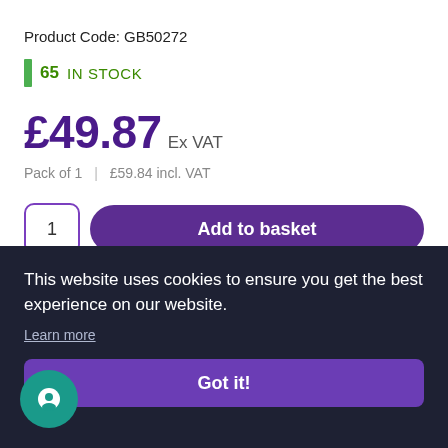Product Code: GB50272
65 IN STOCK
£49.87 Ex VAT
Pack of 1  |  £59.84 incl. VAT
1  Add to basket
ARE
This website uses cookies to ensure you get the best experience on our website.
Learn more
Got it!
wards